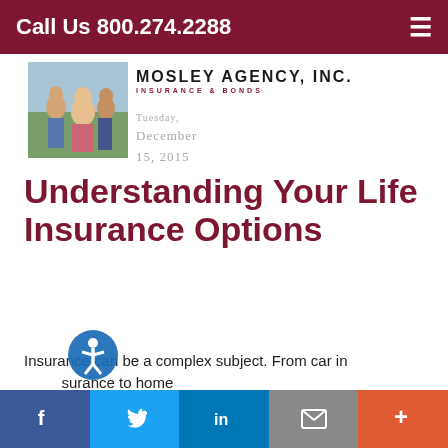Call Us 800.274.2288
[Figure (logo): Mosley Agency, Inc. Insurance & Bonds logo with circular M emblem]
Tuesday, December 15, 2015
[Figure (photo): Family photo - adults and children outdoors]
Understanding Your Life Insurance Options
Insurance can be a complex subject. From car insurance to home
[Figure (other): Accessibility icon overlay]